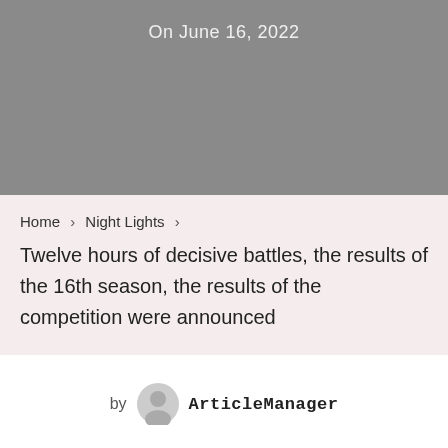On June 16, 2022
Home › Night Lights ›
Twelve hours of decisive battles, the results of the 16th season, the results of the competition were announced
by ArticleManager
On March 20th, in the beautiful southern coastal city Shenzhen, the 8 -bit pure tram owner drove a car to complete the extreme